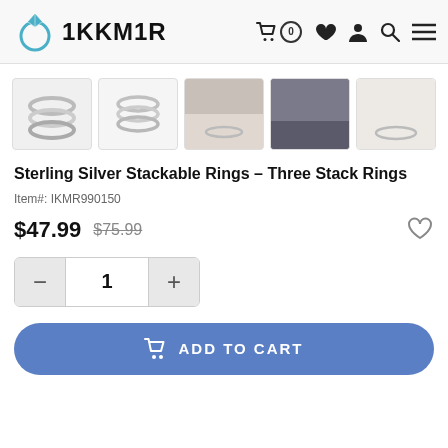1KKM1R
[Figure (photo): Five product thumbnail images of sterling silver stackable rings shown from different angles and on hands]
Sterling Silver Stackable Rings - Three Stack Rings
Item#: IKMR990150
$47.99  $75.99
Quantity: 1
ADD TO CART